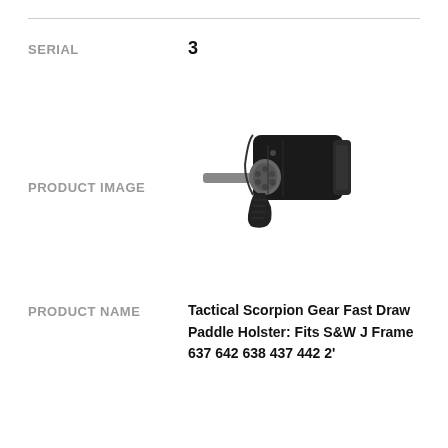SERIAL
3
PRODUCT IMAGE
[Figure (photo): A black gun holster with a revolver inserted, shown at an angle. The holster appears to be a paddle-style holster made of black polymer/kydex material.]
PRODUCT NAME
Tactical Scorpion Gear Fast Draw Paddle Holster: Fits S&W J Frame 637 642 638 437 442 2'